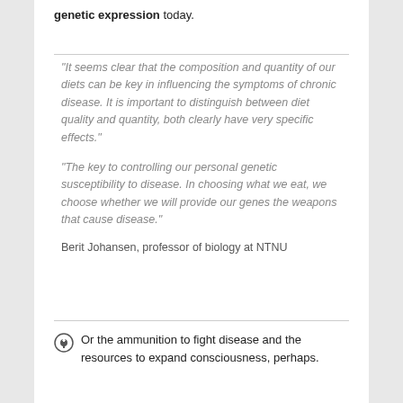genetic expression today.
“It seems clear that the composition and quantity of our diets can be key in influencing the symptoms of chronic disease. It is important to distinguish between diet quality and quantity, both clearly have very specific effects.”

“The key to controlling our personal genetic susceptibility to disease. In choosing what we eat, we choose whether we will provide our genes the weapons that cause disease.”

Berit Johansen, professor of biology at NTNU
Or the ammunition to fight disease and the resources to expand consciousness, perhaps.